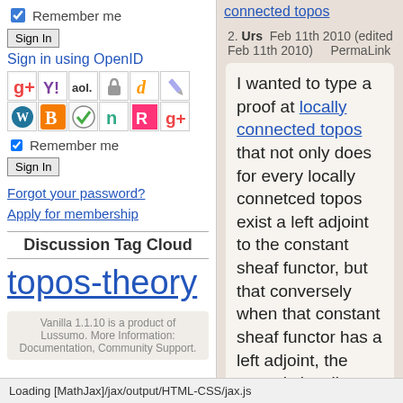Remember me
Sign In
Sign in using OpenID
[Figure (screenshot): Grid of OpenID provider icons including Google, Yahoo, AOL, lock, OpenID, pencil, WordPress, Blogger, checkmark, Ning, Rojo, Google]
Remember me
Sign In
Forgot your password?
Apply for membership
Discussion Tag Cloud
topos-theory
Vanilla 1.1.10 is a product of Lussumo. More Information: Documentation, Community Support.
connected topos
2. Urs  Feb 11th 2010 (edited Feb 11th 2010)    PermaLink
I wanted to type a proof at locally connected topos that not only does for every locally connetced topos exist a left adjoint to the constant sheaf functor, but that conversely when that constant sheaf functor has a left adjoint, the topos is locally connected.
It seemed pretty obvious, but while typing a would-be proof I
Loading [MathJax]/jax/output/HTML-CSS/jax.js